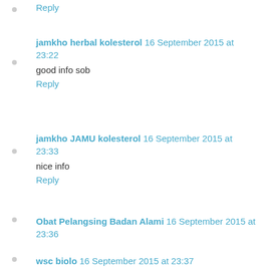Reply
jamkho herbal kolesterol  16 September 2015 at 23:22
good info sob
Reply
jamkho JAMU kolesterol  16 September 2015 at 23:33
nice info
Reply
Obat Pelangsing Badan Alami  16 September 2015 at 23:36
amazing sahre
Reply
wsc biolo  16 September 2015 at 23:37